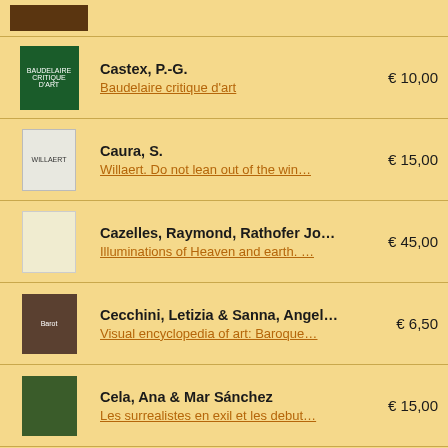(partial item at top)
Castex, P.-G. | Baudelaire critique d'art | € 10,00
Caura, S. | Willaert. Do not lean out of the win… | € 15,00
Cazelles, Raymond, Rathofer Jo… | Illuminations of Heaven and earth. … | € 45,00
Cecchini, Letizia & Sanna, Angel… | Visual encyclopedia of art: Baroque… | € 6,50
Cela, Ana & Mar Sánchez | Les surrealistes en exil et les debut… | € 15,00
Celant, Germano | Art Povera: Storie e protagonisti / H… | € 200,00
Celant, Germano | (partial)